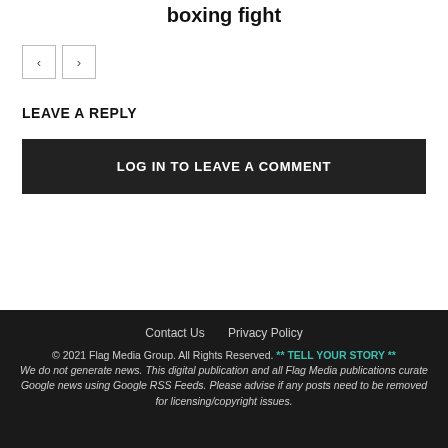boxing fight
< >
LEAVE A REPLY
LOG IN TO LEAVE A COMMENT
Contact Us   Privacy Policy
© 2021 Flag Media Group. All Rights Reserved. ** TELL YOUR STORY **
We do not generate news. This digital publication and all Flag Media publications curate Google news using Google RSS Feeds. Please advise if any posts need to be removed for licensing/copyright issues.